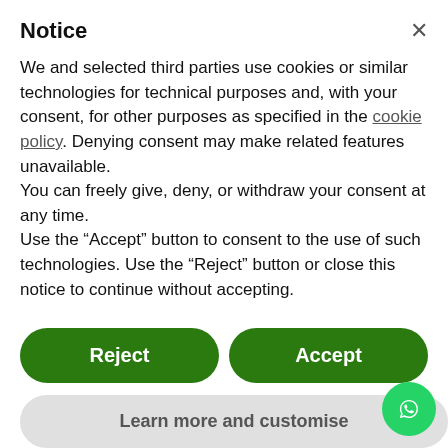Notice
We and selected third parties use cookies or similar technologies for technical purposes and, with your consent, for other purposes as specified in the cookie policy. Denying consent may make related features unavailable.
You can freely give, deny, or withdraw your consent at any time.
Use the “Accept” button to consent to the use of such technologies. Use the “Reject” button or close this notice to continue without accepting.
Reject
Accept
Learn more and customise
[Figure (photo): Green leaves and fruit on a tree branch, viewed from below]